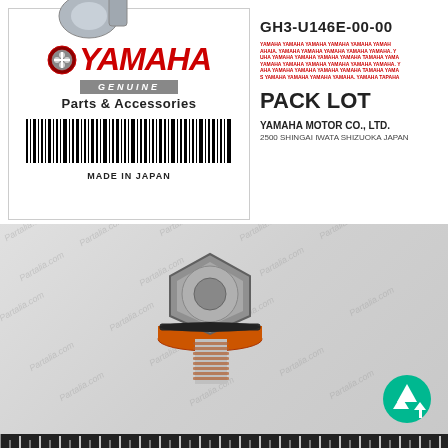[Figure (photo): A metallic ball joint / tie rod end part on top of the Yamaha genuine parts label, visible in upper left]
[Figure (logo): Yamaha Genuine Parts & Accessories logo with red YAMAHA text, tuning fork emblem, grey GENUINE bar, and barcode below]
MADE IN JAPAN
GH3-U146E-00-00
PACK LOT
YAMAHA MOTOR CO., LTD.
2500 SHINGAI IWATA SHIZUOKA JAPAN
[Figure (photo): A hex bolt/drain plug with orange rubber washer/gasket, photographed against a light grey background with diagonal Partalia.com watermarks and a ruler at the bottom]